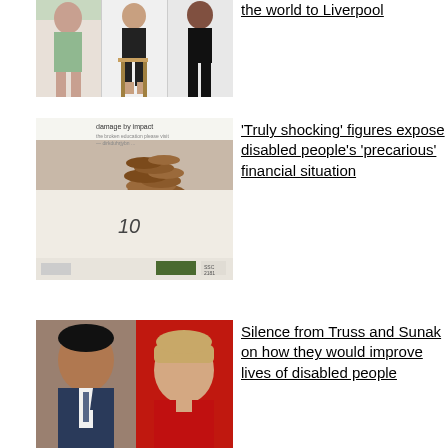[Figure (photo): Three panels showing people seated, lifestyle photo]
the world to Liverpool
[Figure (photo): Photo of coins on a scale with label '10' and text 'damage by impact']
'Truly shocking' figures expose disabled people's 'precarious' financial situation
[Figure (photo): Photo of Rishi Sunak and Liz Truss side by side]
Silence from Truss and Sunak on how they would improve lives of disabled people